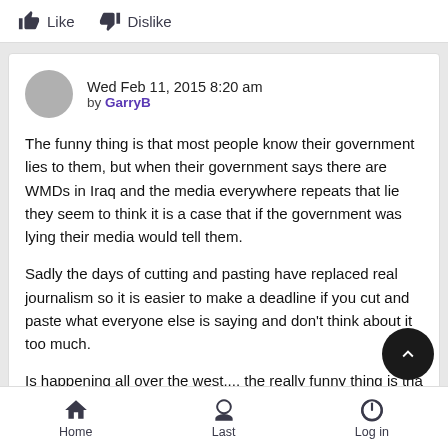[Figure (other): Like and Dislike buttons with thumbs-up and thumbs-down icons]
Wed Feb 11, 2015 8:20 am
by GarryB
The funny thing is that most people know their government lies to them, but when their government says there are WMDs in Iraq and the media everywhere repeats that lie they seem to think it is a case that if the government was lying their media would tell them.
Sadly the days of cutting and pasting have replaced real journalism so it is easier to make a deadline if you cut and paste what everyone else is saying and don't think about it too much.
Is happening all over the west.... the really funny thing is tha western journalist who speaks the truth most of the time is the
Home   Last   Log in